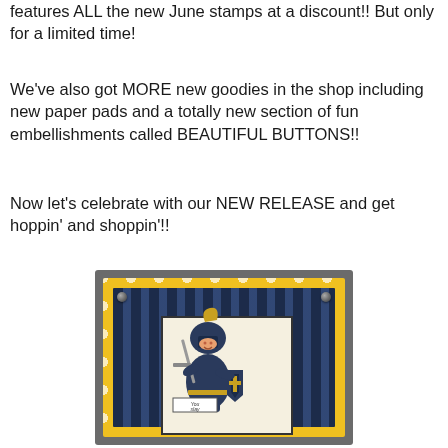features ALL the new June stamps at a discount!! But only for a limited time!
We've also got MORE new goodies in the shop including new paper pads and a totally new section of fun embellishments called BEAUTIFUL BUTTONS!!
Now let's celebrate with our NEW RELEASE and get hoppin' and shoppin'!!
[Figure (illustration): A handmade greeting card featuring a cartoon knight in dark navy blue armor holding a sword and shield, set against a striped navy blue background with a yellow polka-dot border and grey outer frame. The knight is mounted on a cream/ivory inner panel. A small tag at the bottom reads 'You slay'. Silver rivet embellishments appear at the top corners.]